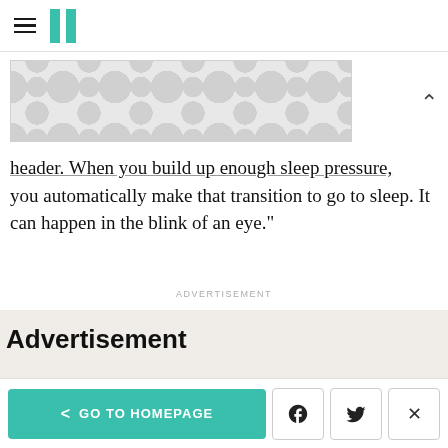HuffPost navigation
[Figure (screenshot): Ad banner with polka-dot/bubble pattern in grey on light grey background]
header. "When you build up enough sleep pressure, you automatically make that transition to go to sleep. It can happen in the blink of an eye."
ADVERTISEMENT
Advertisement
< GO TO HOMEPAGE